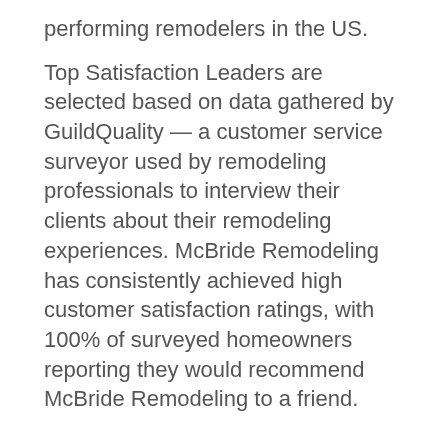performing remodelers in the US.
Top Satisfaction Leaders are selected based on data gathered by GuildQuality — a customer service surveyor used by remodeling professionals to interview their clients about their remodeling experiences. McBride Remodeling has consistently achieved high customer satisfaction ratings, with 100% of surveyed homeowners reporting they would recommend McBride Remodeling to a friend.
What This Means for Homeowners